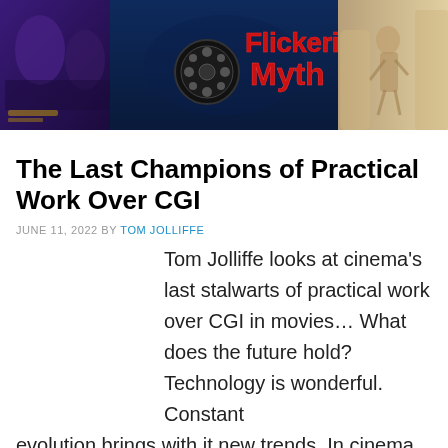[Figure (illustration): Flickering Myth website banner header with logo showing a film reel, red and yellow stylized text reading 'Flickering Myth', set against a collage of movie imagery including fantasy and sci-fi scenes on dark blue background, with a lighter scene on the right side.]
The Last Champions of Practical Work Over CGI
JUNE 11, 2022 BY TOM JOLLIFFE
Tom Jolliffe looks at cinema's last stalwarts of practical work over CGI in movies… What does the future hold? Technology is wonderful. Constant evolution brings with it new trends. In cinema, the computer generated image has developed